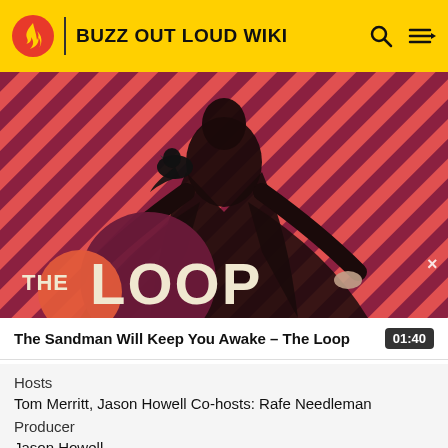BUZZ OUT LOUD WIKI
[Figure (illustration): Hero image for 'The Loop' — a figure in black clothing with a bird on shoulder, against a red and dark stripe diagonal background, with 'THE LOOP' text overlay in large letters]
The Sandman Will Keep You Awake – The Loop
01:40
Hosts
Tom Merritt, Jason Howell Co-hosts: Rafe Needleman
Producer
Jason Howell